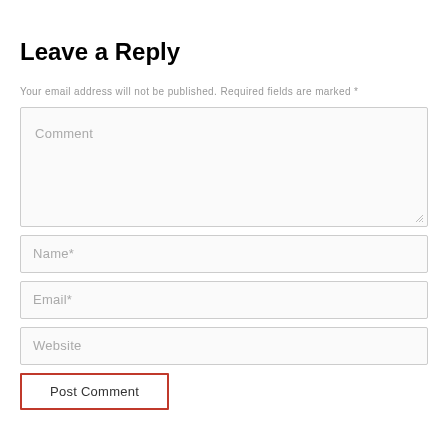Leave a Reply
Your email address will not be published. Required fields are marked *
[Figure (screenshot): Web form with Comment textarea, Name*, Email*, Website input fields, and a Post Comment button with red border]
Post Comment